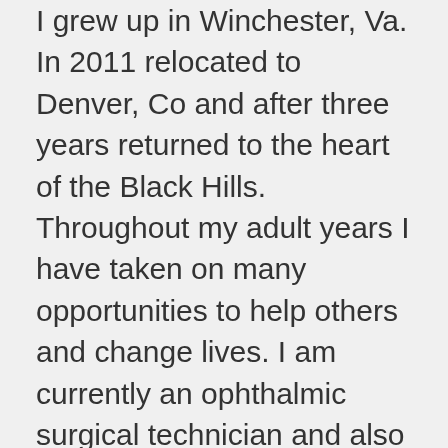I grew up in Winchester, Va. In 2011 relocated to Denver, Co and after three years returned to the heart of the Black Hills. Throughout my adult years I have taken on many opportunities to help others and change lives. I am currently an ophthalmic surgical technician and also a certified canine behaviorist. I am very involved in the dog community.
I have recently begun pursuing a career path in real estate. I pride myself on my ability to take in even the most aggressive dogs because of my lack of fear and my confidence in my ability to rehabilitate them to success. That start to